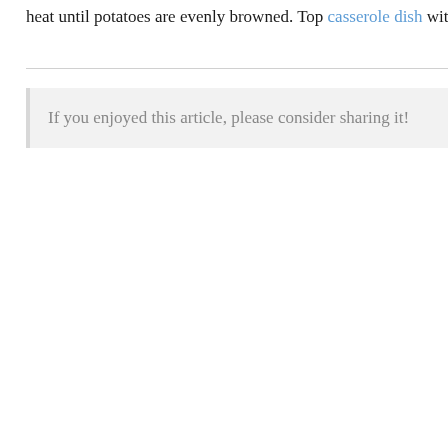heat until potatoes are evenly browned. Top casserole dish with chop
If you enjoyed this article, please consider sharing it!